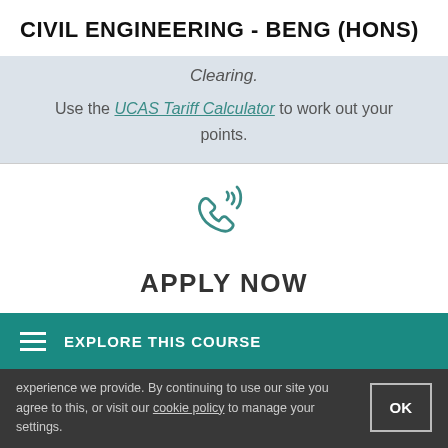CIVIL ENGINEERING - BENG (HONS)
Clearing.
Use the UCAS Tariff Calculator to work out your points.
[Figure (illustration): Phone/telephone icon with signal waves, teal outline style]
APPLY NOW
EXPLORE THIS COURSE
experience we provide. By continuing to use our site you agree to this, or visit our cookie policy to manage your settings.